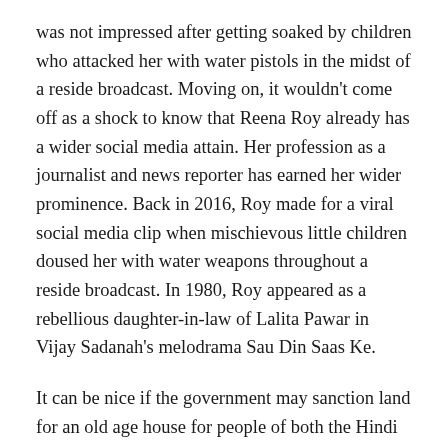was not impressed after getting soaked by children who attacked her with water pistols in the midst of a reside broadcast. Moving on, it wouldn't come off as a shock to know that Reena Roy already has a wider social media attain. Her profession as a journalist and news reporter has earned her wider prominence. Back in 2016, Roy made for a viral social media clip when mischievous little children doused her with water weapons throughout a reside broadcast. In 1980, Roy appeared as a rebellious daughter-in-law of Lalita Pawar in Vijay Sadanah's melodrama Sau Din Saas Ke.
It can be nice if the government may sanction land for an old age house for people of both the Hindi and Marathi industries – a spot where actors, writers, technicians, stuntmen, singers... Who are going through powerful instances and battling old age can be cared for and lead a lifetime of dignity. With the help of actors like Akshay